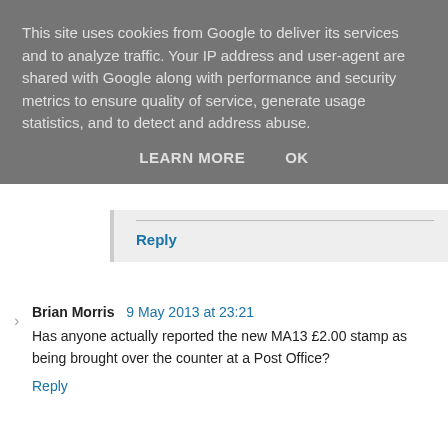This site uses cookies from Google to deliver its services and to analyze traffic. Your IP address and user-agent are shared with Google along with performance and security metrics to ensure quality of service, generate usage statistics, and to detect and address abuse.
LEARN MORE   OK
Reply
Brian Morris  9 May 2013 at 23:21
Has anyone actually reported the new MA13 £2.00 stamp as being brought over the counter at a Post Office?
Reply
Anonymous  16 May 2013 at 10:48
This stamp is now also in new supplies of the High Value